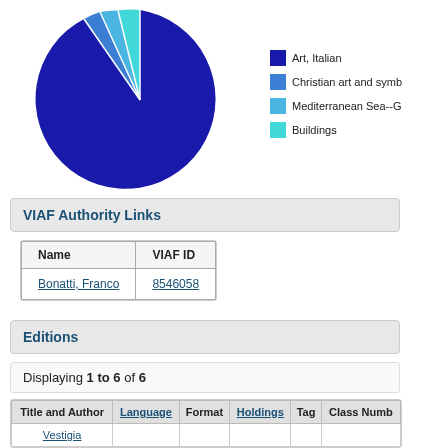[Figure (pie-chart): Subject distribution]
VIAF Authority Links
| Name | VIAF ID |
| --- | --- |
| Bonatti, Franco | 8546058 |
Editions
Displaying 1 to 6 of 6
| Title and Author | Language | Format | Holdings | Tag | Class Numb |
| --- | --- | --- | --- | --- | --- |
| Vestigia |  |  |  |  |  |